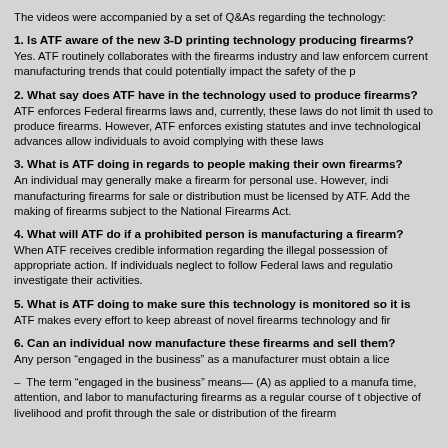The videos were accompanied by a set of Q&As regarding the technology:
1. Is ATF aware of the new 3-D printing technology producing firearms? Yes. ATF routinely collaborates with the firearms industry and law enforcement current manufacturing trends that could potentially impact the safety of the p
2. What say does ATF have in the technology used to produce firearms? ATF enforces Federal firearms laws and, currently, these laws do not limit the used to produce firearms. However, ATF enforces existing statutes and investigates technological advances allow individuals to avoid complying with these laws
3. What is ATF doing in regards to people making their own firearms? An individual may generally make a firearm for personal use. However, individuals manufacturing firearms for sale or distribution must be licensed by ATF. Additionally, the making of firearms subject to the National Firearms Act.
4. What will ATF do if a prohibited person is manufacturing a firearm? When ATF receives credible information regarding the illegal possession of appropriate action. If individuals neglect to follow Federal laws and regulations, investigate their activities.
5. What is ATF doing to make sure this technology is monitored so it is ATF makes every effort to keep abreast of novel firearms technology and firearms
6. Can an individual now manufacture these firearms and sell them? Any person “engaged in the business” as a manufacturer must obtain a license
–  The term “engaged in the business” means— (A) as applied to a manufacturer time, attention, and labor to manufacturing firearms as a regular course of business objective of livelihood and profit through the sale or distribution of the firearms